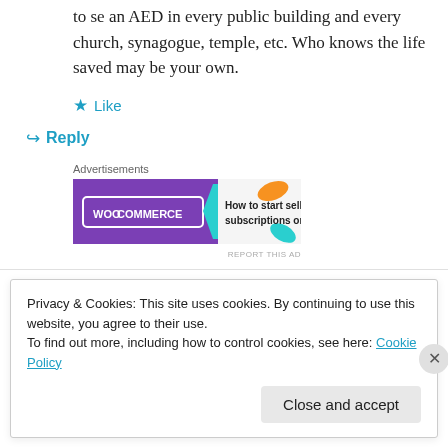to se an AED in every public building and every church, synagogue, temple, etc. Who knows the life saved may be your own.
★ Like
↪ Reply
Advertisements
[Figure (other): WooCommerce advertisement banner: purple background with WooCommerce logo and text 'How to start selling subscriptions online', with decorative colored leaf shapes on the right side]
REPORT THIS AD
Privacy & Cookies: This site uses cookies. By continuing to use this website, you agree to their use.
To find out more, including how to control cookies, see here: Cookie Policy
Close and accept